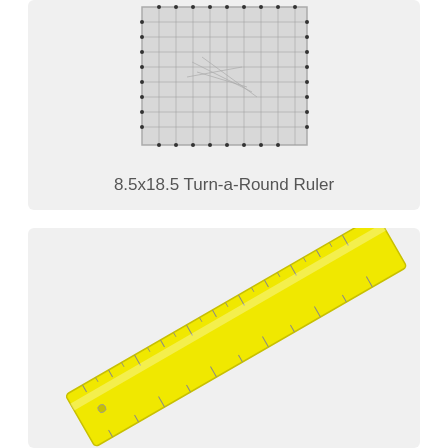[Figure (photo): A transparent quilting ruler (8.5x18.5 Turn-a-Round Ruler) with grid markings, shown from above against a light background.]
8.5x18.5 Turn-a-Round Ruler
[Figure (photo): A bright yellow plastic ruler shown diagonally, oriented from lower-left to upper-right, with measurement markings along its edge.]